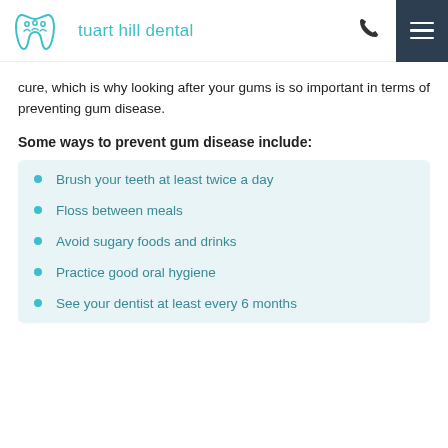tuart hill dental
cure, which is why looking after your gums is so important in terms of preventing gum disease.
Some ways to prevent gum disease include:
Brush your teeth at least twice a day
Floss between meals
Avoid sugary foods and drinks
Practice good oral hygiene
See your dentist at least every 6 months